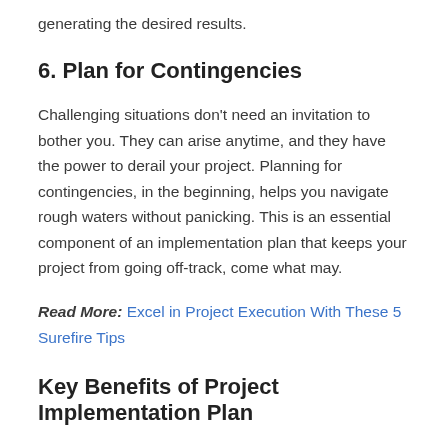generating the desired results.
6. Plan for Contingencies
Challenging situations don't need an invitation to bother you. They can arise anytime, and they have the power to derail your project. Planning for contingencies, in the beginning, helps you navigate rough waters without panicking. This is an essential component of an implementation plan that keeps your project from going off-track, come what may.
Read More: Excel in Project Execution With These 5 Surefire Tips
Key Benefits of Project Implementation Plan